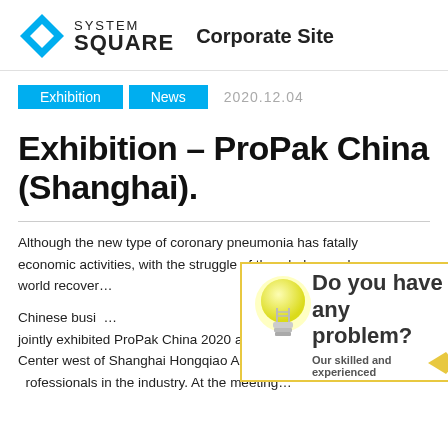SYSTEM SQUARE — Corporate Site
Exhibition   News   2020.12.04
Exhibition – ProPak China (Shanghai).
Although the new type of coronary pneumonia has fatally economic activities, with the struggle of the whole people, world recovered…
Chinese businesses… jointly exhibited ProPak China 2020 at the National Convention Center west of Shanghai Hongqiao Airport on November … professionals in the industry. At the meeting…
[Figure (illustration): Pop-up overlay with lightbulb icon and text 'Do you have any problem? Our skilled and experienced' with yellow arrow]